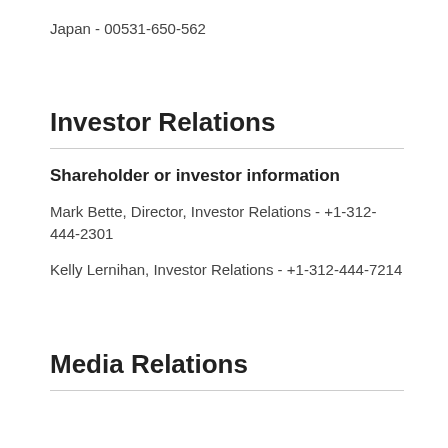Japan - 00531-650-562
Investor Relations
Shareholder or investor information
Mark Bette, Director, Investor Relations - +1-312-444-2301
Kelly Lernihan, Investor Relations - +1-312-444-7214
Media Relations